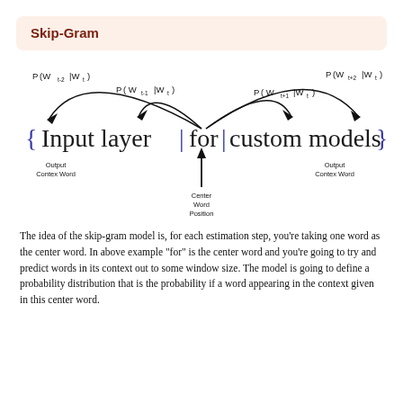Skip-Gram
[Figure (illustration): Skip-Gram neural network diagram showing curved arcs from a center word 'for' in the phrase 'Input layer for custom models' to surrounding context words. Probability labels P(W_{t-2}|W_t), P(W_{t-1}|W_t), P(W_{t+1}|W_t), P(W_{t+2}|W_t) are shown above the arcs. 'Output Contex Word' labels appear below left and right context. 'Center Word Position' label appears below center with an upward arrow.]
The idea of the skip-gram model is, for each estimation step, you’re taking one word as the center word. In above example “for” is the center word and you’re going to try and predict words in its context out to some window size. The model is going to define a probability distribution that is the probability if a word appearing in the context given in this center word.